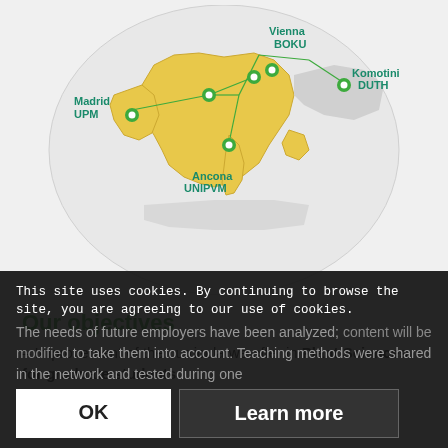[Figure (map): Globe map of Europe highlighted in yellow with location pins and labels: Madrid UPM, Vienna BOKU, Komotini DUTH, Ancona UNIPVM, and two other pins (unlabeled). Lines connect the pins.]
Our objectives
– Improvement of the curricula we offer in Plant Sciences for graduate students.
The needs of future employers have been analyzed; content will be modified to take them into account. Teaching methods were shared in the network and tested during one
This site uses cookies. By continuing to browse the site, you are agreeing to our use of cookies.